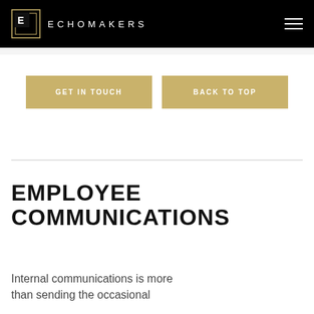ECHOMAKERS
GET IN TOUCH
BACK TO TOP
EMPLOYEE COMMUNICATIONS
Internal communications is more than sending the occasional